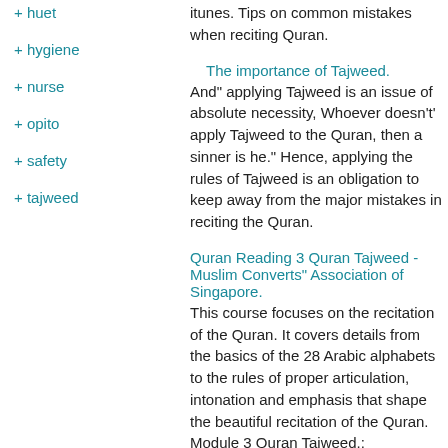+ huet
+ hygiene
+ nurse
+ opito
+ safety
+ tajweed
itunes. Tips on common mistakes when reciting Quran.
The importance of Tajweed.
And" applying Tajweed is an issue of absolute necessity, Whoever doesn't' apply Tajweed to the Quran, then a sinner is he." Hence, applying the rules of Tajweed is an obligation to keep away from the major mistakes in reciting the Quran.
Quran Reading 3 Quran Tajweed - Muslim Converts" Association of Singapore.
This course focuses on the recitation of the Quran. It covers details from the basics of the 28 Arabic alphabets to the rules of proper articulation, intonation and emphasis that shape the beautiful recitation of the Quran. Module 3 Quran Tajweed.: